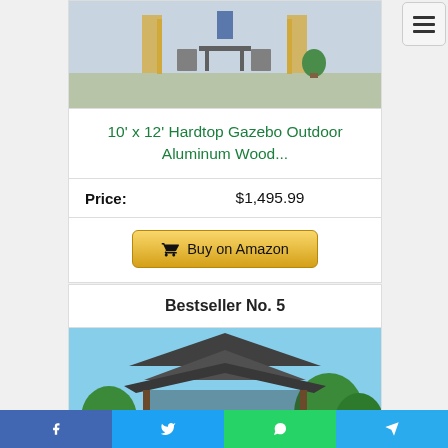[Figure (photo): Outdoor patio gazebo setup with furniture, curtains, and blue decor]
10' x 12' Hardtop Gazebo Outdoor Aluminum Wood...
Price: $1,495.99
Buy on Amazon
Bestseller No. 5
[Figure (photo): Outdoor hardtop gazebo with dark roof and green tree background]
f  t  WhatsApp  Telegram